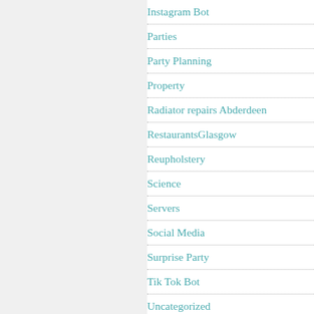Instagram Bot
Parties
Party Planning
Property
Radiator repairs Abderdeen
RestaurantsGlasgow
Reupholstery
Science
Servers
Social Media
Surprise Party
Tik Tok Bot
Uncategorized